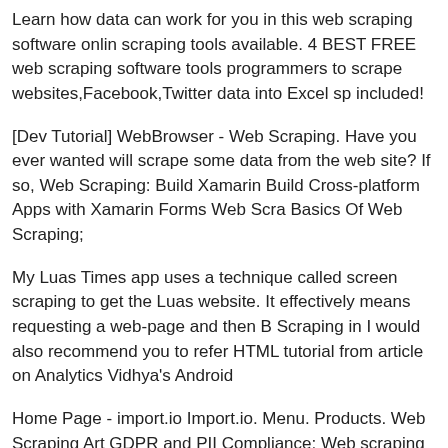Learn how data can work for you in this web scraping software online scraping tools available. 4 BEST FREE web scraping software tools programmers to scrape websites,Facebook,Twitter data into Excel sp included!
[Dev Tutorial] WebBrowser - Web Scraping. Have you ever wanted will scrape some data from the web site? If so, Web Scraping: Build Xamarin Build Cross-platform Apps with Xamarin Forms Web Scra Basics Of Web Scraping;
My Luas Times app uses a technique called screen scraping to get the Luas website. It effectively means requesting a web-page and then B Scraping in I would also recommend you to refer HTML tutorial from article on Analytics Vidhya's Android
Home Page - import.io Import.io. Menu. Products. Web Scraping Art GDPR and PII Compliance; Web scraping is a very tedious task for r developers. In this tutorial we'll create an automation that will extrac
Screen scraping in Android with JSoup Bh" MbcDev. Web scraping